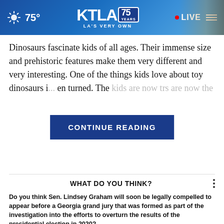75° KTLA 75 YEARS LA'S VERY OWN • LIVE
Dinosaurs fascinate kids of all ages. Their immense size and prehistoric features make them very different and very interesting. One of the things kids love about toy dinosaurs i[...] en turned. The kids are now t[...] rs are now the
CONTINUE READING
WHAT DO YOU THINK?
Do you think Sen. Lindsey Graham will soon be legally compelled to appear before a Georgia grand jury that was formed as part of the investigation into the efforts to overturn the results of the presidential election in 2020?
Yes, I think so
Maybe, I'm not sure